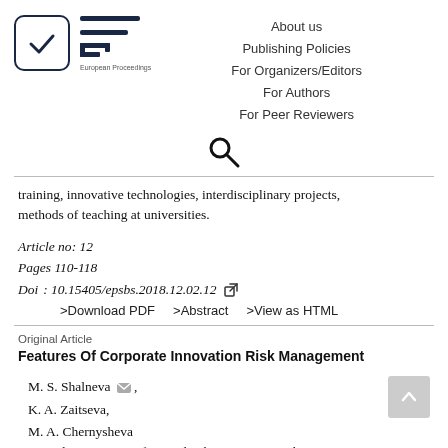[Figure (logo): European Proceedings logo with checkmark in rounded square box and EP horizontal lines symbol, with navigation links: About us, Publishing Policies, For Organizers/Editors, For Authors, For Peer Reviewers]
[Figure (other): Search icon (magnifying glass)]
training, innovative technologies, interdisciplinary projects, methods of teaching at universities.
Article no: 12
Pages 110-118
Doi: 10.15405/epsbs.2018.12.02.12
>Download PDF   >Abstract   >View as HTML
Original Article
Features Of Corporate Innovation Risk Management
M. S. Shalneva,
K. A. Zaitseva,
M. A. Chernysheva
Keywords: Corporative financial risks, innovative risks, innovative technologies, risk management
Article no: 162